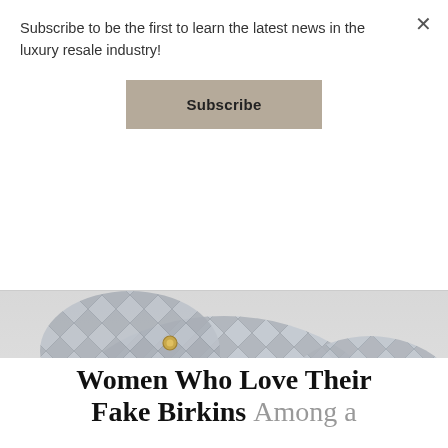Subscribe to be the first to learn the latest news in the luxury resale industry!
Subscribe
[Figure (photo): Close-up photograph of multiple grey quilted leather handbags piled together, showing diamond quilting pattern and gold-tone hardware eyelets/studs on a light background.]
Women Who Love Their Fake Birkins Among a